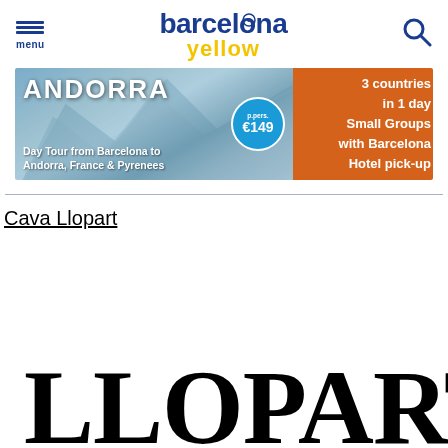barcelona yellow — menu / search header
[Figure (infographic): Andorra day tour advertisement banner: mountain landscape background with text 'ANDORRA Day Tour from Barcelona to Andorra, France & Pyrenees', price bubble '€149 p.pers.', stone building image, orange panel '3 countries in 1 day Small Groups with Barcelona Hotel pick-up']
Cava Llopart
[Figure (logo): LLOPART brand logo in large ornate black serif font]